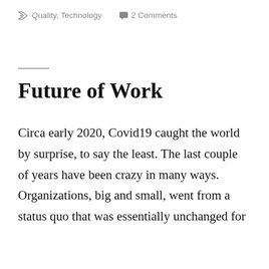Quality, Technology   2 Comments
Future of Work
Circa early 2020, Covid19 caught the world by surprise, to say the least. The last couple of years have been crazy in many ways. Organizations, big and small, went from a status quo that was essentially unchanged for